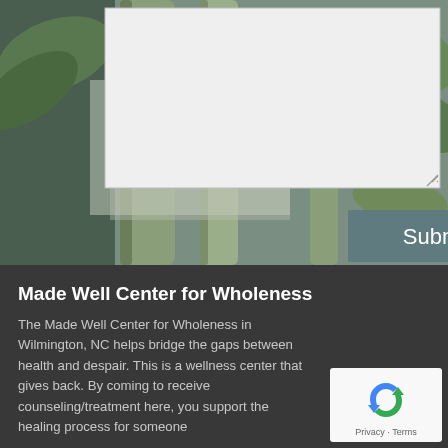[Figure (photo): Background photo of bamboo stalks and green leaves with muted teal/green tones, partially obscured by a light-colored textarea input box and a teal submit button overlay]
Made Well Center for Wholeness
The Made Well Center for Wholeness in Wilmington, NC helps bridge the gaps between health and despair. This is a wellness center that gives back. By coming to receive counseling/treatment here, you support the healing process for someone